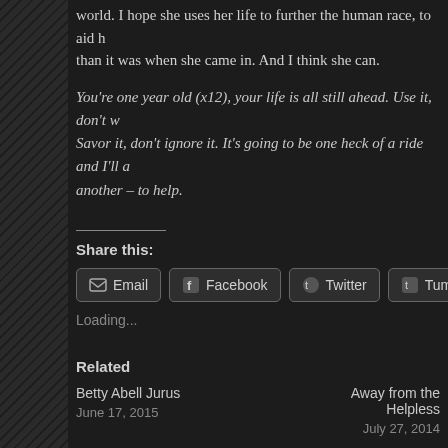Of course, I hope she ultimately is simply happy, but personally, I hope she changes the world. I hope she uses her life to further the human race, to aid humanity, to leave the world better than it was when she came in. And I think she can.
You're one year old (x12), your life is all still ahead. Use it, don't waste it. Savor it, don't ignore it. It's going to be one heck of a ride and I'll always be here – one way or another – to help.
Share this:
Email | Facebook | Twitter | Tumblr
Loading...
Related
Betty Abell Jurus
June 17, 2015
Away from the Helpless
July 27, 2014